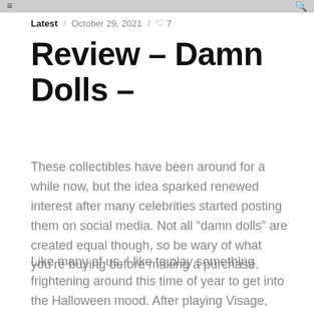≡  🔍
Latest / October 29, 2021 / ♡ 7
Review – Damn Dolls –
These collectibles have been around for a while now, but the idea sparked renewed interest after many celebrities started posting them on social media. Not all “damn dolls” are created equal though, so be wary of what you’re buying before making a purchase.
Like many of us, I like to play something frightening around this time of year to get into the Halloween mood. After playing Visage, Resident Evil Village, and Little Nightmares II recently, I decided to go